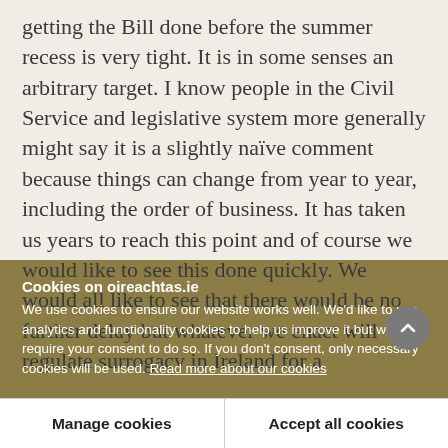getting the Bill done before the summer recess is very tight. It is in some senses an arbitrary target. I know people in the Civil Service and legislative system more generally might say it is a slightly naïve comment because things can change from year to year, including the order of business. It has taken us years to reach this point and of course we would like to see this done quickly. We would all like to see that there would be no further delay but whatever we enact will regulate surrogacy in Ireland for a
Cookies on oireachtas.ie
We use cookies to ensure our website works well. We'd like to use analytics and functionality cookies to help us improve it but we require your consent to do so. If you don't consent, only necessary cookies will be used. Read more about our cookies
Manage cookies
Accept all cookies